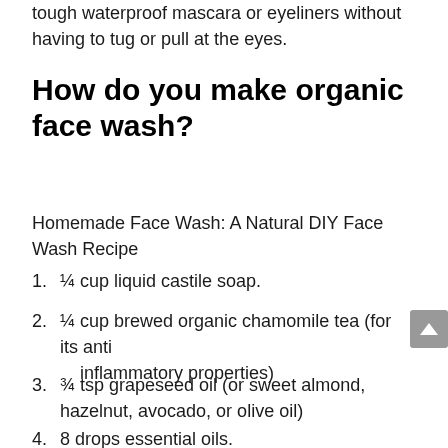tough waterproof mascara or eyeliners without having to tug or pull at the eyes.
How do you make organic face wash?
Homemade Face Wash: A Natural DIY Face Wash Recipe
¼ cup liquid castile soap.
¼ cup brewed organic chamomile tea (for its anti inflammatory properties)
¾ tsp grapeseed oil (or sweet almond, hazelnut, avocado, or olive oil)
8 drops essential oils.